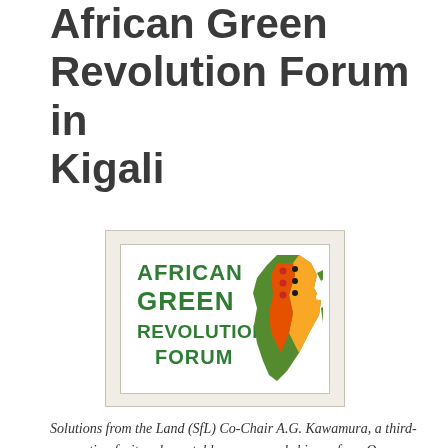African Green Revolution Forum in Kigali
[Figure (logo): African Green Revolution Forum logo — text 'AFRICAN GREEN REVOLUTION FORUM' in green beside a colorful map of Africa in green, yellow, orange, and red with decorative stripes and dots]
Solutions from the Land (SfL) Co-Chair A.G. Kawamura, a third-generation fruit and vegetable grower and shipper from Orange County, California